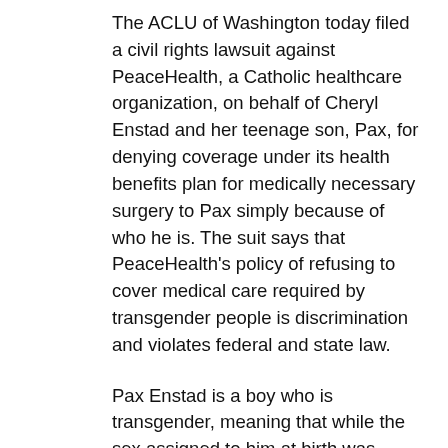The ACLU of Washington today filed a civil rights lawsuit against PeaceHealth, a Catholic healthcare organization, on behalf of Cheryl Enstad and her teenage son, Pax, for denying coverage under its health benefits plan for medically necessary surgery to Pax simply because of who he is. The suit says that PeaceHealth's policy of refusing to cover medical care required by transgender people is discrimination and violates federal and state law.
Pax Enstad is a boy who is transgender, meaning that while the sex assigned to him at birth was female, he has a male gender identity. He was diagnosed with gender dysphoria, a serious medical condition marked by persistent and clinically significant distress caused by incongruence between an individual's gender identity and that individual's sex traits, but